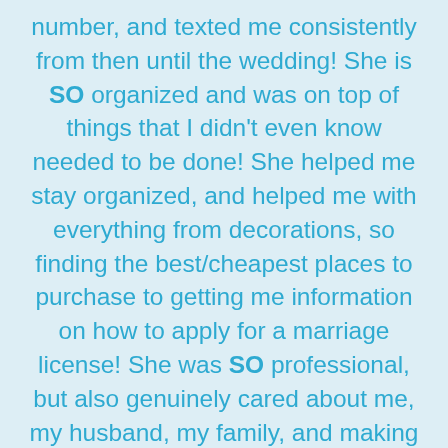number, and texted me consistently from then until the wedding! She is SO organized and was on top of things that I didn't even know needed to be done! She helped me stay organized, and helped me with everything from decorations, so finding the best/cheapest places to purchase to getting me information on how to apply for a marriage license! She was SO professional, but also genuinely cared about me, my husband, my family, and making sure my wedding was exactly how I'd always